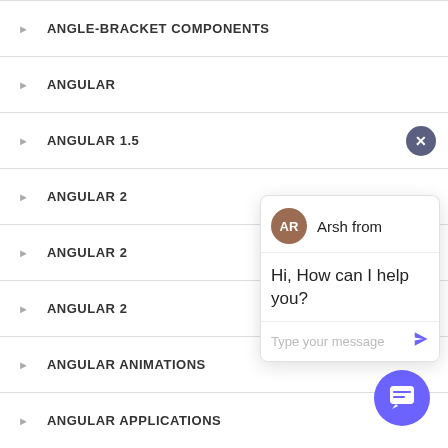ANGLE-BRACKET COMPONENTS
ANGULAR
ANGULAR 1.5
ANGULAR 2
ANGULAR 2
ANGULAR 2
ANGULAR ANIMATIONS
ANGULAR APPLICATIONS
ANGULAR CLI
[Figure (screenshot): Chat popup with avatar 'AR', name 'Arsh from', message 'Hi, How can I help you?' and a text input field with placeholder 'Type your message' and a send arrow button.]
[Figure (illustration): Purple circular floating chat button with a speech bubble icon.]